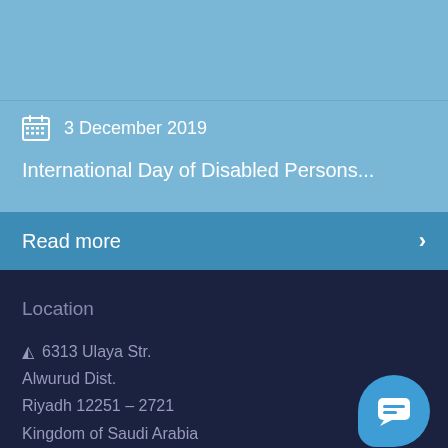3 December 2019
International Day of Disabled Persons...
Read more
Location
6313 Ulaya Str. Alwurud Dist. Riyadh 12251 – 2721 Kingdom of Saudi Arabia